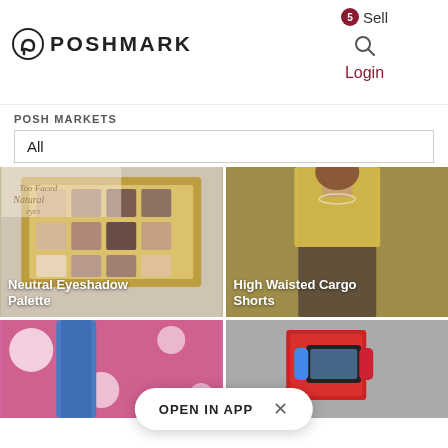[Figure (screenshot): Poshmark website header with logo, Sell button with badge, search icon, and Login link]
POSH MARKETS
All
[Figure (photo): Too Faced Natural Eyes neutral eyeshadow palette open on marble surface, with label 'Neutral Eyeshadow Palette']
[Figure (photo): Woman wearing yellow halter top and high waisted dark cargo shorts against tan background, with label 'High Waisted Cargo Shorts']
[Figure (photo): Blue jeans boots against pink polka dot background (partially visible)]
[Figure (photo): Nintendo Switch gaming console in red box (partially visible)]
OPEN IN APP